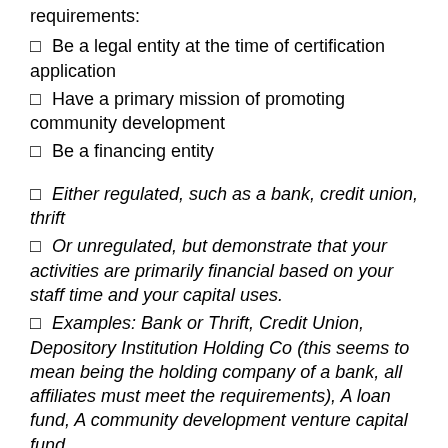requirements:
Be a legal entity at the time of certification application
Have a primary mission of promoting community development
Be a financing entity
Either regulated, such as a bank, credit union, thrift
Or unregulated, but demonstrate that your activities are primarily financial based on your staff time and your capital uses.
Examples: Bank or Thrift, Credit Union, Depository Institution Holding Co (this seems to mean being the holding company of a bank, all affiliates must meet the requirements), A loan fund, A community development venture capital fund
Primarily serve one or more target markets